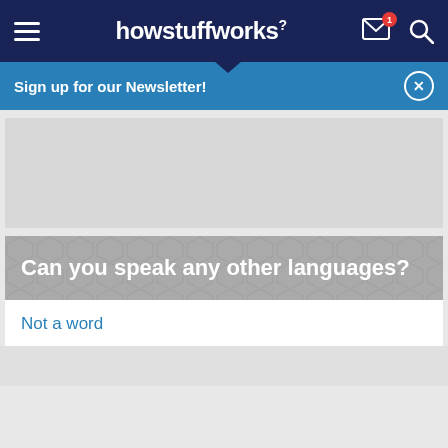howstuffworks
Sign up for our Newsletter!
[Figure (other): Gray advertisement placeholder rectangle]
Can you speak any other languages?
Not a word